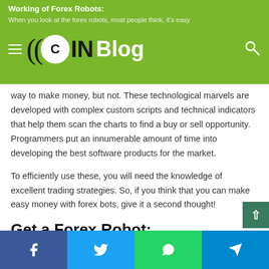Working of Forex Robots: CIN Blog — When you look at the forex robots, most people think, it's easy
way to make money, but not. These technological marvels are developed with complex custom scripts and technical indicators that help them scan the charts to find a buy or sell opportunity. Programmers put an innumerable amount of time into developing the best software products for the market.
To efficiently use these, you will need the knowledge of excellent trading strategies. So, if you think that you can make easy money with forex bots, give it a second thought!
Get a Forex Robot:
Now there are two ways in which you can avail of the bene
Facebook  Twitter  WhatsApp  Telegram